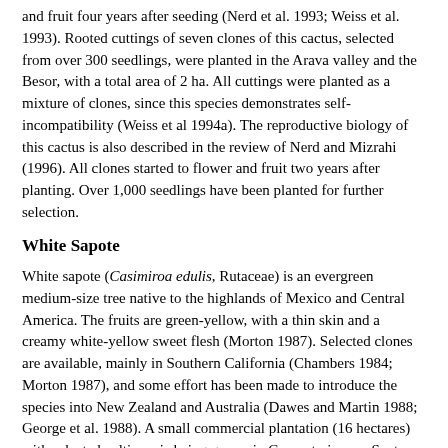and fruit four years after seeding (Nerd et al. 1993; Weiss et al. 1993). Rooted cuttings of seven clones of this cactus, selected from over 300 seedlings, were planted in the Arava valley and the Besor, with a total area of 2 ha. All cuttings were planted as a mixture of clones, since this species demonstrates self-incompatibility (Weiss et al 1994a). The reproductive biology of this cactus is also described in the review of Nerd and Mizrahi (1996). All clones started to flower and fruit two years after planting. Over 1,000 seedlings have been planted for further selection.
White Sapote
White sapote (Casimiroa edulis, Rutaceae) is an evergreen medium-size tree native to the highlands of Mexico and Central America. The fruits are green-yellow, with a thin skin and a creamy white-yellow sweet flesh (Morton 1987). Selected clones are available, mainly in Southern California (Chambers 1984; Morton 1987), and some effort has been made to introduce the species into New Zealand and Australia (Dawes and Martin 1988; George et al. 1988). A small commercial plantation (16 hectares) with selected cultivars is being grown in Carpenteria near Santa Barbara, California and the fruits can be found as an exotic item in the United States and Australia. Early tests in the Israeli Negev Desert demonstrated partial tolerance to salinity (Nerd et al. 1992). In autumn 1992 and spring of 1993, 21 grafted clones were planted